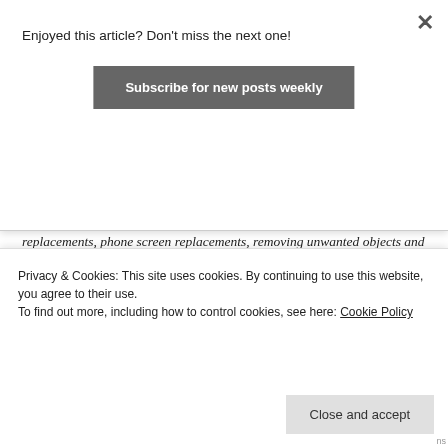Enjoyed this article? Don't miss the next one!
Subscribe for new posts weekly
×
replacements, phone screen replacements, removing unwanted objects and all the usual corner pin jobs.
Spot Clone Tracker is another tool that gives you fast results for getting rid of unwanted elements that might have crept into your shot. It has a similar functionality and also comes with the built-in tracker.
Optical Clone Shader and Reflection...
Privacy & Cookies: This site uses cookies. By continuing to use this website, you agree to their use.
To find out more, including how to control cookies, see here: Cookie Policy
Close and accept
effects ever again. It does a far better job of blending...
ns